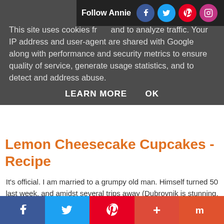Follow Annie
This site uses cookies from and to analyze traffic. Your IP address and user-agent are shared with Google along with performance and security metrics to ensure quality of service, generate usage statistics, and to detect and address abuse.
LEARN MORE   OK
Lemon Cheesecake Cupcakes - Recipe
It's official. I am married to a grumpy old man. Himself turned 50 last week, and amidst several trips away (Dubrovnik is stunning, people) and a Saturday night out (don't worry, it wasn't out-out), I managed to squeeze in these little scrumbags.
He's not a cake fan, so I opted for what I thought was the simplest, easiest to make, but delicious cupcake, to cater for
Facebook Twitter Pinterest + Mix